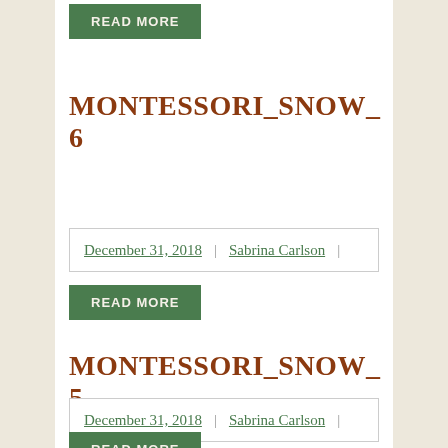READ MORE
MONTESSORI_SNOW_6
December 31, 2018 | Sabrina Carlson |
READ MORE
MONTESSORI_SNOW_5
December 31, 2018 | Sabrina Carlson |
READ MORE